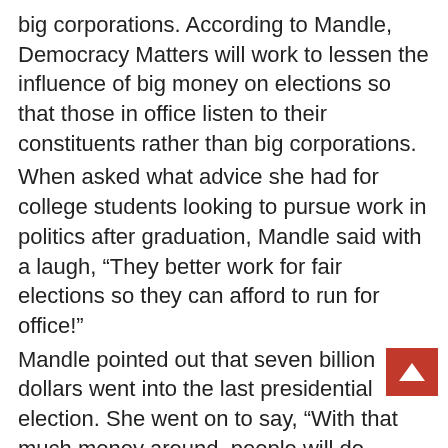big corporations. According to Mandle, Democracy Matters will work to lessen the influence of big money on elections so that those in office listen to their constituents rather than big corporations.
When asked what advice she had for college students looking to pursue work in politics after graduation, Mandle said with a laugh, “They better work for fair elections so they can afford to run for office!”
Mandle pointed out that seven billion dollars went into the last presidential election. She went on to say, “With that much money around, people will do irresponsible things. We are going to change the way campaigns are funded so ordinary people who aren’t as wealthy can run as well.”
Democracy Matters stands behind the Fair Elections bill, supported by many, including Governor Andrew Cuomo. The Fair Elections bill would help get big money out of the political system. It would create a way for any New York citizen to run for office without having to depend on wealthy contributors who may expect something in return.
Today, candidates running for office must rely heavily on